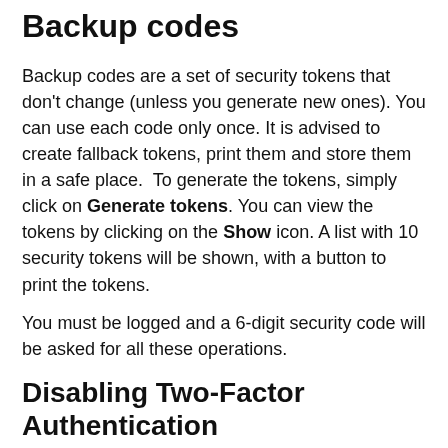Backup codes
Backup codes are a set of security tokens that don't change (unless you generate new ones). You can use each code only once. It is advised to create fallback tokens, print them and store them in a safe place.  To generate the tokens, simply click on Generate tokens. You can view the tokens by clicking on the Show icon. A list with 10 security tokens will be shown, with a button to print the tokens.
You must be logged and a 6-digit security code will be asked for all these operations.
Disabling Two-Factor Authentication
Perform the following steps to disable two-factor authentication:
Go to your user settings (the gear in the top left of the interface), in the "Account" tab select "Disable 2FA"